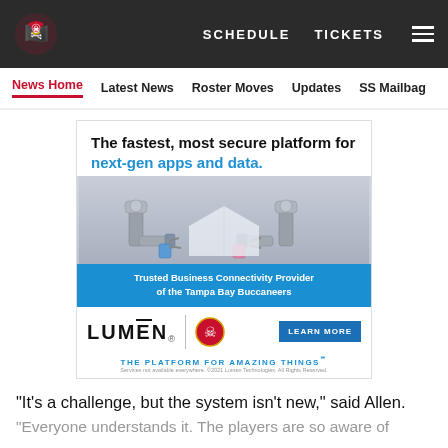SCHEDULE   TICKETS   ≡
News Home   Latest News   Roster Moves   Updates   SS Mailbag
[Figure (infographic): Lumen advertisement: 'The fastest, most secure platform for next-gen apps and data.' with robotic arms image. 'Trusted Business Connectivity Provider of the Tampa Bay Buccaneers'. LUMEN logo. LEARN MORE button. THE PLATFORM FOR AMAZING THINGS℠]
"It's a challenge, but the system isn't new," said Allen.
"Everyone understands it. The players are so aware of